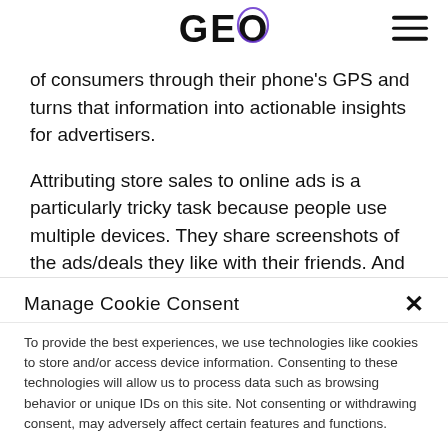GEO
of consumers through their phone's GPS and turns that information into actionable insights for advertisers.

Attributing store sales to online ads is a particularly tricky task because people use multiple devices. They share screenshots of the ads/deals they like with their friends. And often, they don't even buy a product immediately after seeing its ad online. But Placed has successfully managed to measure more
Manage Cookie Consent
To provide the best experiences, we use technologies like cookies to store and/or access device information. Consenting to these technologies will allow us to process data such as browsing behavior or unique IDs on this site. Not consenting or withdrawing consent, may adversely affect certain features and functions.